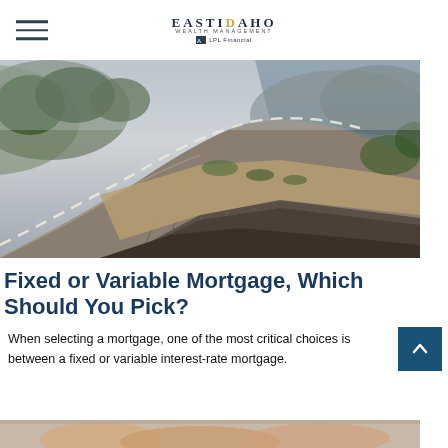East Idaho Wealth Management — LPL Financial
[Figure (photo): Coastal highway curving along a cliff edge with ocean view and misty hills in background]
Fixed or Variable Mortgage, Which Should You Pick?
When selecting a mortgage, one of the most critical choices is between a fixed or variable interest-rate mortgage.
[Figure (photo): Partial image of hands at the bottom of the page — bottom strip preview]